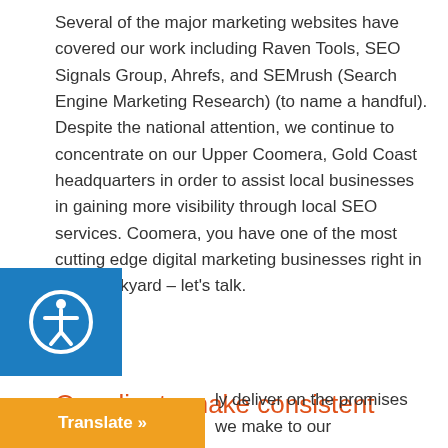Several of the major marketing websites have covered our work including Raven Tools, SEO Signals Group, Ahrefs, and SEMrush (Search Engine Marketing Research) (to name a handful). Despite the national attention, we continue to concentrate on our Upper Coomera, Gold Coast headquarters in order to assist local businesses in gaining more visibility through local SEO services. Coomera, you have one of the most cutting edge digital marketing businesses right in your backyard – let's talk.
[Figure (other): Blue accessibility button with person/universal access icon (circle with human figure)]
Our clients make consistent progress.
In the Gold Coast, it's difficult to locate a reputable agency – we've been in business for 11 years because we've demonstrated our ability to deliver on the promises we make to our
[Figure (other): Orange Translate button with text 'Translate »']